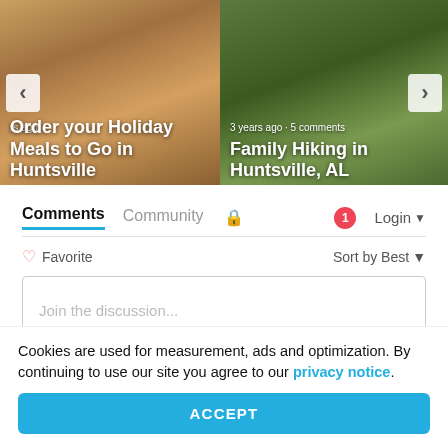[Figure (screenshot): Carousel card showing food/holiday meal image with text 'Order your Holiday Meals to Go in Huntsville' and left navigation arrow]
[Figure (screenshot): Carousel card showing family hiking in forest image with text '3 years ago · 5 comments' and 'Family Hiking in Huntsville, AL' and right navigation arrow]
Comments  Community  🔒  1  Login ▾
♡ Favorite    Sort by Best ▾
Join the discussion...
LOG IN WITH
Cookies are used for measurement, ads and optimization. By continuing to use our site you agree to our privacy notice.
ACCEPT